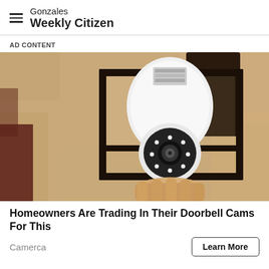Gonzales Weekly Citizen
AD CONTENT
[Figure (photo): A hand installing a smart bulb security camera into an outdoor black lantern-style light fixture mounted on a beige stucco wall. The white bulb-shaped camera has LED lights and a lens visible at the bottom.]
Homeowners Are Trading In Their Doorbell Cams For This
Camerca
Learn More